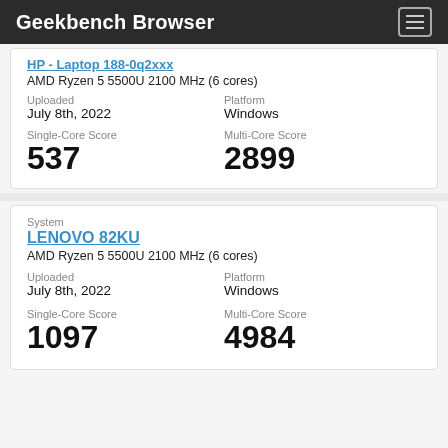Geekbench Browser
HP - Laptop 188-0q2xxx
AMD Ryzen 5 5500U 2100 MHz (6 cores)
Uploaded
July 8th, 2022
Platform
Windows
Single-Core Score
537
Multi-Core Score
2899
System
LENOVO 82KU
AMD Ryzen 5 5500U 2100 MHz (6 cores)
Uploaded
July 8th, 2022
Platform
Windows
Single-Core Score
1097
Multi-Core Score
4984